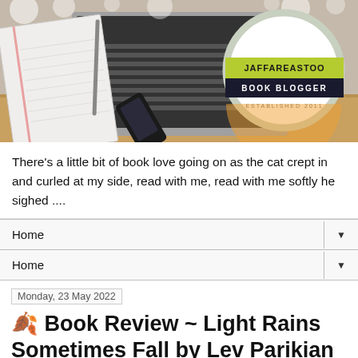[Figure (photo): Blog header image showing a laptop, open notebook, phone on a wooden desk. Circular badge logo reads JAFFAREASTOO BOOK BLOGGER ESTABLISHED 2011.]
There's a little bit of book love going on as the cat crept in and curled at my side, read with me, read with me softly he sighed ....
Home ▼
Home ▼
Monday, 23 May 2022
🍂 Book Review ~ Light Rains Sometimes Fall by Lev Parikian